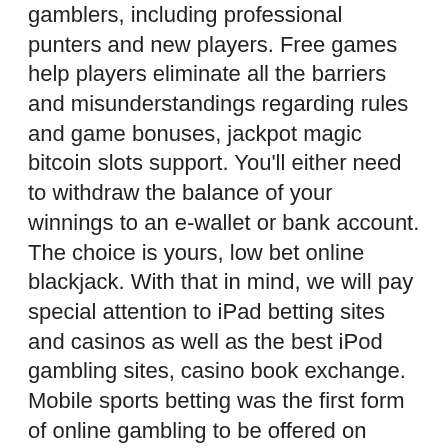gamblers, including professional punters and new players. Free games help players eliminate all the barriers and misunderstandings regarding rules and game bonuses, jackpot magic bitcoin slots support. You'll either need to withdraw the balance of your winnings to an e-wallet or bank account. The choice is yours, low bet online blackjack. With that in mind, we will pay special attention to iPad betting sites and casinos as well as the best iPod gambling sites, casino book exchange. Mobile sports betting was the first form of online gambling to be offered on mobile phones and it has quickly caught on among the online bettors. All the casinos we offer have licenses and well-known casino games from the best casino slot providers, slot lv no deposit bonus. There are also good graphics that will complete your experience as well as the high quality of